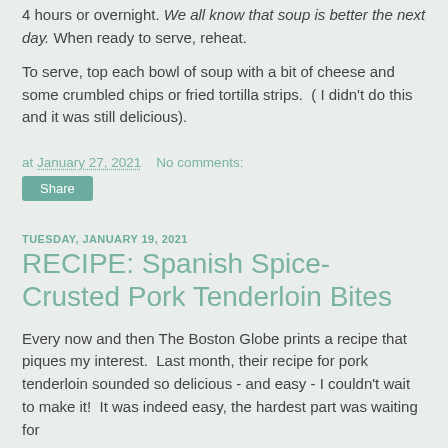4 hours or overnight. We all know that soup is better the next day. When ready to serve, reheat.
To serve, top each bowl of soup with a bit of cheese and some crumbled chips or fried tortilla strips.  ( I didn't do this and it was still delicious).
at January 27, 2021    No comments:
Share
TUESDAY, JANUARY 19, 2021
RECIPE: Spanish Spice-Crusted Pork Tenderloin Bites
Every now and then The Boston Globe prints a recipe that piques my interest.  Last month, their recipe for pork tenderloin sounded so delicious - and easy - I couldn't wait to make it!  It was indeed easy, the hardest part was waiting for